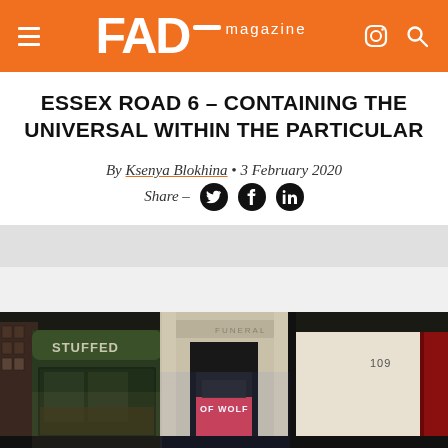FAD magazine
ESSEX ROAD 6 – CONTAINING THE UNIVERSAL WITHIN THE PARTICULAR
By Ksenya Blokhina • 3 February 2020
Share – [Twitter] [Facebook] [LinkedIn]
[Figure (photo): Night-time street photograph of Essex Road showing shopfronts including a green-painted 'STUFFED' shop and a building with 'OF WOLF' poster visible in the window. Number 109 visible on right side.]